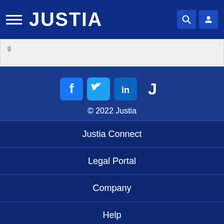JUSTIA
© 2022 Justia
Justia Connect
Legal Portal
Company
Help
Terms of Service
Privacy Policy